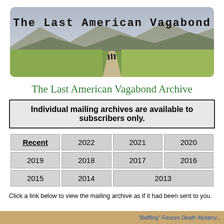[Figure (photo): Banner image of The Last American Vagabond showing a dirt road through open fields with mountains in the background and text 'The Last American Vagabond' in typewriter font]
The Last American Vagabond Archive
Individual mailing archives are available to subscribers only.
| Recent | 2022 | 2021 | 2020 |
| 2019 | 2018 | 2017 | 2016 |
| 2015 | 2014 | 2013 (merged) |  |
Click a link below to view the mailing archive as if it had been sent to you.
"Baffling" Fauces Death Mystery...